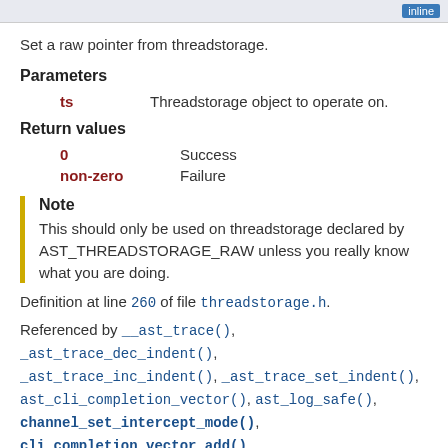inline
Set a raw pointer from threadstorage.
Parameters
ts  Threadstorage object to operate on.
Return values
0  Success
non-zero  Failure
Note
This should only be used on threadstorage declared by AST_THREADSTORAGE_RAW unless you really know what you are doing.
Definition at line 260 of file threadstorage.h.
Referenced by __ast_trace(), _ast_trace_dec_indent(), _ast_trace_inc_indent(), _ast_trace_set_indent(), ast_cli_completion_vector(), ast_log_safe(), channel_set_intercept_mode(), cli_completion_vector_add(),